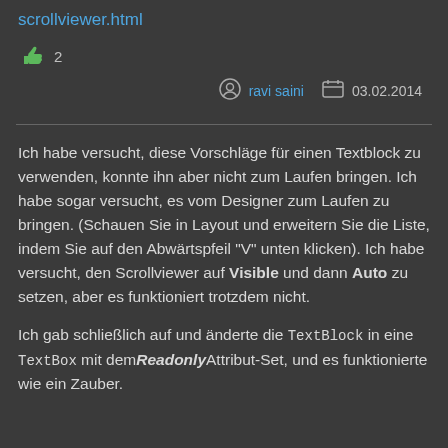scrollviewer.html
👍  2
ravi saini   03.02.2014
Ich habe versucht, diese Vorschläge für einen Textblock zu verwenden, konnte ihn aber nicht zum Laufen bringen. Ich habe sogar versucht, es vom Designer zum Laufen zu bringen. (Schauen Sie in Layout und erweitern Sie die Liste, indem Sie auf den Abwärtspfeil "V" unten klicken). Ich habe versucht, den Scrollviewer auf Visible und dann Auto zu setzen, aber es funktioniert trotzdem nicht.
Ich gab schließlich auf und änderte die TextBlock in eine TextBox mit dem Readonly Attribut-Set, und es funktionierte wie ein Zauber.